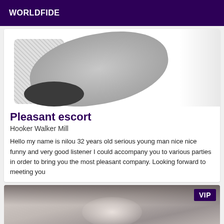WORLDFIDE
[Figure (photo): Close-up photo of a person wearing a gray knit garment, with a speckled fabric visible on the left side and light background on the right.]
Pleasant escort
Hooker Walker Mill
Hello my name is nilou 32 years old serious young man nice nice funny and very good listener I could accompany you to various parties in order to bring you the most pleasant company. Looking forward to meeting you
[Figure (photo): Partial photo of a person in white undergarment, with a VIP badge overlay in the upper right corner.]